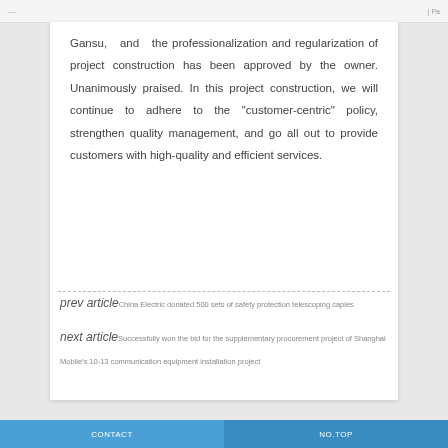—   | Pa
Gansu, and the professionalization and regularization of project construction has been approved by the owner. Unanimously praised. In this project construction, we will continue to adhere to the "customer-centric" policy, strengthen quality management, and go all out to provide customers with high-quality and efficient services.
prev article China Electric donated 500 sets of safety protection telescoping caples
next article Successfully won the bid for the supplementary procurement project of Shanghai Mobile's 10-13 communication equipment installation project
CONTACT   NO.TOP